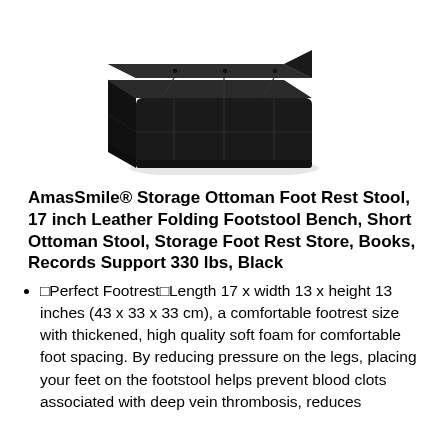[Figure (photo): Black leather folding storage ottoman footstool, square shape with tufted top lid slightly open, viewed from a slight angle above.]
AmasSmile® Storage Ottoman Foot Rest Stool, 17 inch Leather Folding Footstool Bench, Short Ottoman Stool, Storage Foot Rest Store, Books, Records Support 330 lbs, Black
🔲Perfect Footrest🔲Length 17 x width 13 x height 13 inches (43 x 33 x 33 cm), a comfortable footrest size with thickened, high quality soft foam for comfortable foot spacing. By reducing pressure on the legs, placing your feet on the footstool helps prevent blood clots associated with deep vein thrombosis, reduces